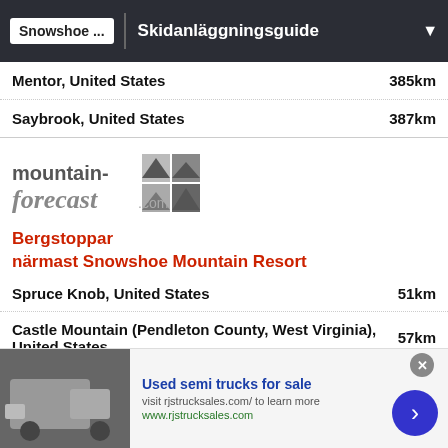Snowshoe ... | Skidanläggningsguide
Mentor, United States — 385km
Saybrook, United States — 387km
[Figure (logo): mountain-forecast.com logo]
Bergstoppar närmast Snowshoe Mountain Resort
Spruce Knob, United States — 51km
Castle Mountain (Pendleton County, West Virginia), United States — 57km
River Knobs (West Virginia), United States — 61km
Elliott Knob, United States — 66km
Seneca Rocks, United States — 72km
[Figure (infographic): Advertisement: Used semi trucks for sale — visit rjstrucksales.com/ to learn more, www.rjstrucksales.com]